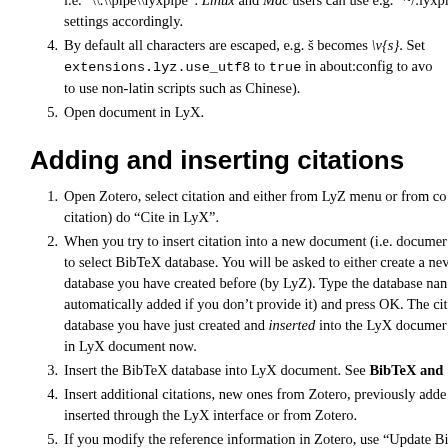i.e. "\\.\\pipe\\lyxpipe". Linux and Mac users can use e.g. "~/.lyxpipe". settings accordingly.
By default all characters are escaped, e.g. š becomes \v{s}. Set extensions.lyz.use_utf8 to true in about:config to avoid (necessary to use non-latin scripts such as Chinese).
Open document in LyX.
Adding and inserting citations
Open Zotero, select citation and either from LyZ menu or from context menu (right click on citation) do "Cite in LyX".
When you try to insert citation into a new document (i.e. document with no BibTeX database) you'll be asked to select BibTeX database. You will be asked to either create a new database or use BibTeX database you have created before (by LyZ). Type the database name (the .bib extension is automatically added if you don't provide it) and press OK. The citation will be saved to the BibTeX database you have just created and inserted into the LyX document. The citation is in LyX document now.
Insert the BibTeX database into LyX document. See BibTeX and LyX.
Insert additional citations, new ones from Zotero, previously added ones can be inserted through the LyX interface or from Zotero.
If you modify the reference information in Zotero, use "Update BibTeX" in LyZ menu to update the BibTeX database.
Custom BibTeX keys